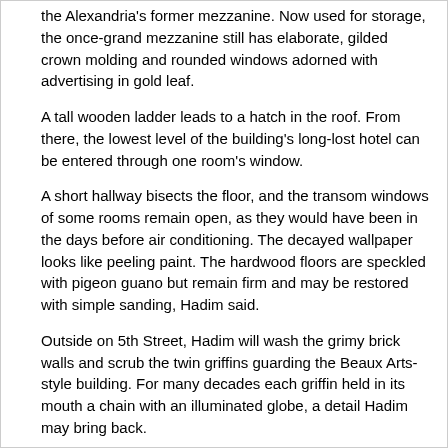the Alexandria's former mezzanine. Now used for storage, the once-grand mezzanine still has elaborate, gilded crown molding and rounded windows adorned with advertising in gold leaf.
A tall wooden ladder leads to a hatch in the roof. From there, the lowest level of the building's long-lost hotel can be entered through one room's window.
A short hallway bisects the floor, and the transom windows of some rooms remain open, as they would have been in the days before air conditioning. The decayed wallpaper looks like peeling paint. The hardwood floors are speckled with pigeon guano but remain firm and may be restored with simple sanding, Hadim said.
Outside on 5th Street, Hadim will wash the grimy brick walls and scrub the twin griffins guarding the Beaux Arts-style building. For many decades each griffin held in its mouth a chain with an illuminated globe, a detail Hadim may bring back.
In the decades after World War II, the Alexandria's prime neighborhood at 5th and Spring gradually fell into decline. So did the hotel. In 1988, city officials called the Alexandria the worst drug-trafficking spot in Los Angeles.
Now the city's historic downtown-turned-skid row is reviving, with new restaurants, bars, shops and thousands of affluent residents living in converted office and industrial buildings.